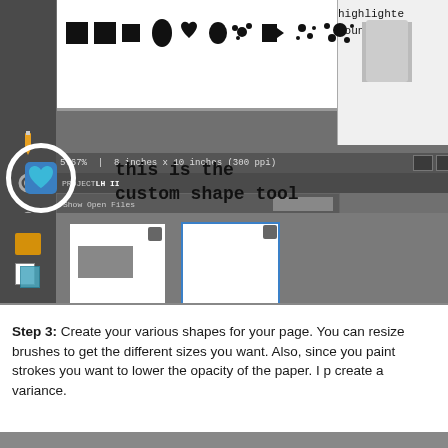[Figure (screenshot): Screenshot of Photoshop-like interface showing brush preset panel with black brush shapes, left toolbar with icons, heart shape selected and circled in white, status bar showing '5.67% | 8 inches x 10 inches (300 ppi)', PROJECT tab, Show Open Files panel, and two document thumbnails. Annotation text reads 'this is the custom shape tool' in monospace font.]
Step 3: Create your various shapes for your page. You can resize brushes to get the different sizes you want. Also, since you paint strokes you want to lower the opacity of the paper. I p create a variance.